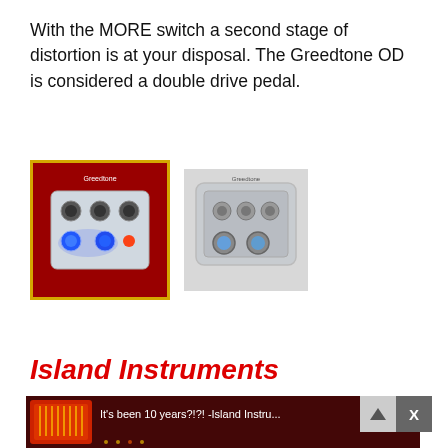With the MORE switch a second stage of distortion is at your disposal. The Greedtone OD is considered a double drive pedal.
[Figure (photo): Guitar effect pedal with yellow border, illuminated with blue LEDs on red background]
[Figure (photo): Guitar effect pedal, silver/clear enclosure on light grey background]
Island Instruments
[Figure (screenshot): YouTube video thumbnail showing 'It's been 10 years?!?! -Island Instru...' with a person and accordion image, red/dark background]
[Figure (photo): Mesa/Boogie advertisement - 'A RECTO LIKE NO OTHER - THE BADLANDER SERIES' with guitar amp image]